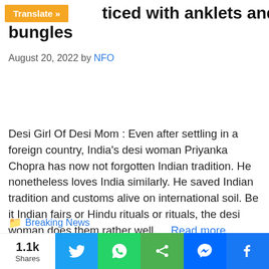…ticed with anklets and bungles
August 20, 2022 by NFO
Desi Girl Of Desi Mom : Even after settling in a foreign country, India's desi woman Priyanka Chopra has now not forgotten Indian tradition. He nonetheless loves India similarly. He saved Indian tradition and customs alive on international soil. Be it Indian fairs or Hindu rituals or rituals, the desi woman does them rather well … Read more
Breaking News
adorable glimpse of daughter Malti Marie,
1.1k Shares